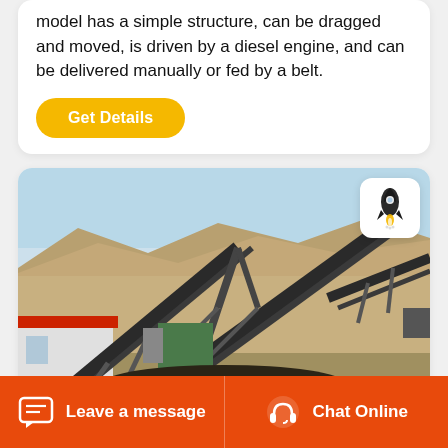model has a simple structure, can be dragged and moved, is driven by a diesel engine, and can be delivered manually or fed by a belt.
[Figure (other): Yellow 'Get Details' button with rounded corners]
[Figure (photo): Outdoor industrial mining/crushing equipment with conveyor belts on arid desert terrain. A red-roofed structure is visible on the left. Multiple angled conveyor belts and heavy machinery are shown under a blue sky with mountains in the background.]
[Figure (other): Bottom navigation bar with orange background showing 'Leave a message' on the left with chat icon and 'Chat Online' on the right with headset icon]